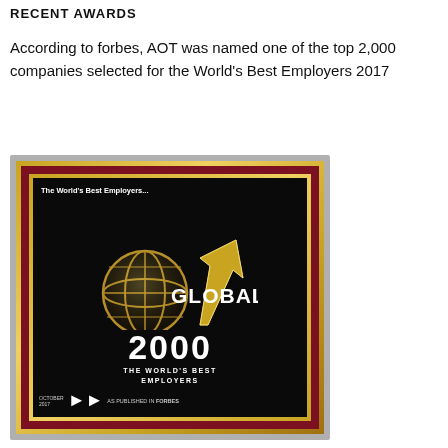RECENT AWARDS
According to forbes, AOT was named one of the top 2,000 companies selected for the World's Best Employers 2017
[Figure (photo): A framed award plaque with a black center panel showing a globe with an upward arrow, the text 'GLOBAL 2000 THE WORLD'S BEST EMPLOYERS', subtitle 'The World's Best Employers...', and 'OCTOBER 2017 AS PUBLISHED IN FORBES' at the bottom. The plaque has a red wood border with gold trim.]